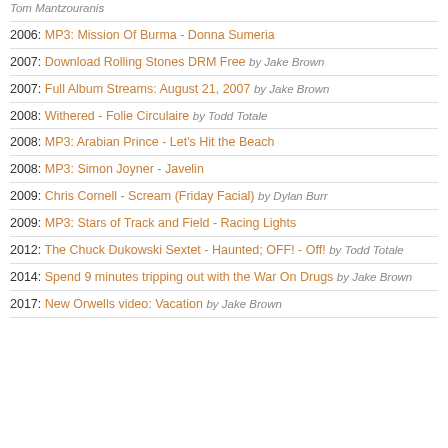by Tom Mantzouranis
2006: MP3: Mission Of Burma - Donna Sumeria
2007: Download Rolling Stones DRM Free by Jake Brown
2007: Full Album Streams: August 21, 2007 by Jake Brown
2008: Withered - Folie Circulaire by Todd Totale
2008: MP3: Arabian Prince - Let's Hit the Beach
2008: MP3: Simon Joyner - Javelin
2009: Chris Cornell - Scream (Friday Facial) by Dylan Burr
2009: MP3: Stars of Track and Field - Racing Lights
2012: The Chuck Dukowski Sextet - Haunted; OFF! - Off! by Todd Totale
2014: Spend 9 minutes tripping out with the War On Drugs by Jake Brown
2017: New Orwells video: Vacation by Jake Brown